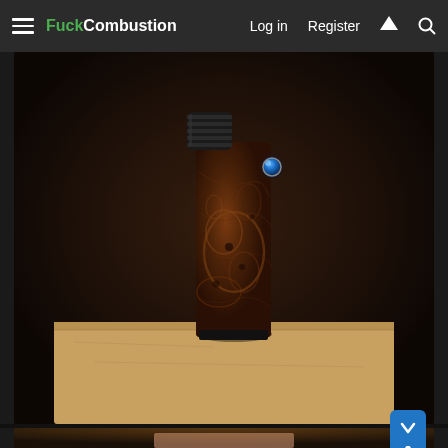FuckCombustion  Log in  Register
[Figure (photo): A wooden burl vaporizer device with dark swirling grain patterns, sitting on a light wooden platform. The device has a black ridged mouthpiece at the top left and a small blue/teal gemstone button on the upper right side.]
[Figure (photo): A lighter-colored wooden vaporizer device partially visible at the bottom of the page, showing ridged lighter-wood stacked rings as a mouthpiece and a circular metal button, with navigation up/down arrow buttons visible on the right side.]